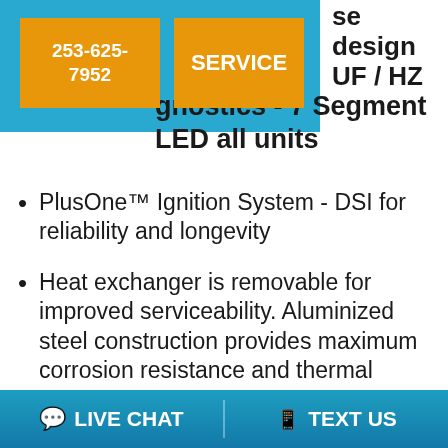253-625-7952  SERVICE
se design UF / HZ
gnostics - 7 Segment LED all units
PlusOne™ Ignition System - DSI for reliability and longevity
Heat exchanger is removable for improved serviceability. Aluminized steel construction provides maximum corrosion resistance and thermal fatigue reliability.
Solid doors provide quiet operation
LIVE CHAT  TEXT US